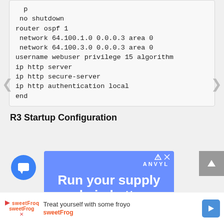no shutdown
router ospf 1
 network 64.100.1.0 0.0.0.3 area 0
 network 64.100.3.0 0.0.0.3 area 0
username webuser privilege 15 algorithm
ip http server
ip http secure-server
ip http authentication local
end
R3 Startup Configuration
[Figure (screenshot): ANVYL advertisement banner with blue background reading 'Run your supply chain better']
[Figure (screenshot): sweetFrog advertisement: 'Treat yourself with some froyo' with sweetFrog logo and navigation arrow]